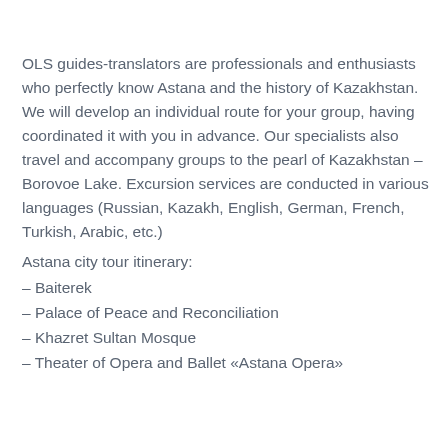OLS guides-translators are professionals and enthusiasts who perfectly know Astana and the history of Kazakhstan. We will develop an individual route for your group, having coordinated it with you in advance. Our specialists also travel and accompany groups to the pearl of Kazakhstan – Borovoe Lake. Excursion services are conducted in various languages (Russian, Kazakh, English, German, French, Turkish, Arabic, etc.)
Astana city tour itinerary:
– Baiterek
– Palace of Peace and Reconciliation
– Khazret Sultan Mosque
– Theater of Opera and Ballet «Astana Opera»